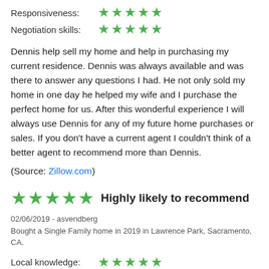Responsiveness: ★★★★★
Negotiation skills: ★★★★★
Dennis help sell my home and help in purchasing my current residence. Dennis was always available and was there to answer any questions I had. He not only sold my home in one day he helped my wife and I purchase the perfect home for us. After this wonderful experience I will always use Dennis for any of my future home purchases or sales. If you don't have a current agent I couldn't think of a better agent to recommend more than Dennis.
(Source: Zillow.com)
★★★★★  Highly likely to recommend
02/06/2019 - asvendberg
Bought a Single Family home in 2019 in Lawrence Park, Sacramento, CA.
Local knowledge: ★★★★★